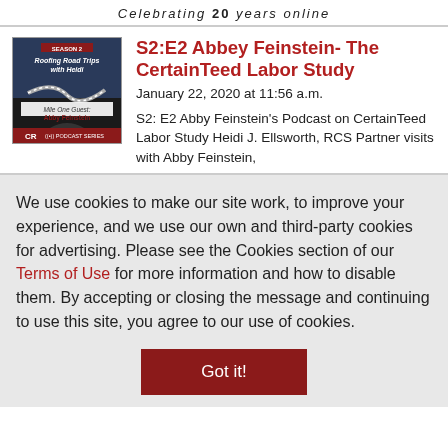Celebrating 20 years online
S2:E2 Abbey Feinstein- The CertainTeed Labor Study
January 22, 2020 at 11:56 a.m.
S2: E2 Abby Feinstein's Podcast on CertainTeed Labor Study Heidi J. Ellsworth, RCS Partner visits with Abby Feinstein,
We use cookies to make our site work, to improve your experience, and we use our own and third-party cookies for advertising. Please see the Cookies section of our Terms of Use for more information and how to disable them. By accepting or closing the message and continuing to use this site, you agree to our use of cookies.
Got it!